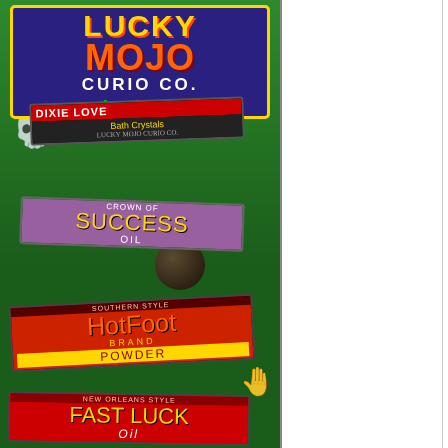[Figure (illustration): Lucky Mojo Curio Co. advertisement with logo at top and product labels (Dixie Love Bath Crystals, Crown of Success Oil, Hot Foot Powder, Fast Luck Oil) arranged on a green background with decorative items]
spell-casting and folk medicine. These four books -- a total of 512 pages! -- regularly sell for a total of $43.00. Pay only a total of only $38.00 (a savings of $5.00). Order the "Botanical Book Bonanza" and you will receive one copy each of these books:
• Hoodoo Herb and Root Magic by catherine yronwode
• This Amazing Book by Sunrae Products Company, edited by catherine